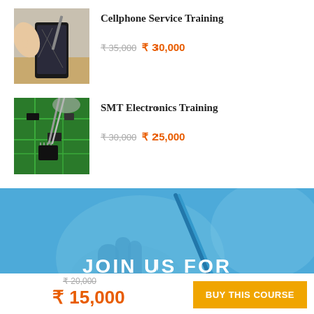Cellphone Service Training
₹ 35,000 ₹ 30,000
SMT Electronics Training
₹ 30,000 ₹ 25,000
[Figure (photo): Person repairing a smartphone, disassembled phone components visible]
[Figure (photo): Green circuit board being worked on with tweezers]
[Figure (photo): Blue-tinted banner with a person using a tool, electrical testing or soldering equipment visible]
JOIN US FOR
₹ 20,000 ₹ 15,000
BUY THIS COURSE